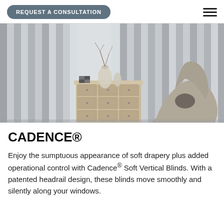REQUEST A CONSULTATION
[Figure (photo): Interior room with soft vertical blinds/drapery in grey tones, a vintage wooden multi-drawer dresser with decorative items on top, and a modern curved grey armchair in the foreground.]
CADENCE®
Enjoy the sumptuous appearance of soft drapery plus added operational control with Cadence® Soft Vertical Blinds. With a patented headrail design, these blinds move smoothly and silently along your windows.